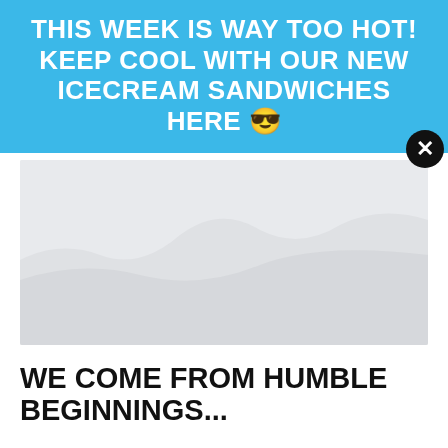THIS WEEK IS WAY TOO HOT! KEEP COOL WITH OUR NEW ICECREAM SANDWICHES HERE 😎
[Figure (photo): A light grey hero image placeholder showing faint mountain silhouette outlines against a pale background.]
WE COME FROM HUMBLE BEGINNINGS...
Holi Concentrates began when we noticed a distinct lack of resources for Rastafarians to order sacrament and have it delivered straight to their door. We recognized there was a space to fill and felt an obligation to step up and help anyone looking for this convenience. Through Holi, we work